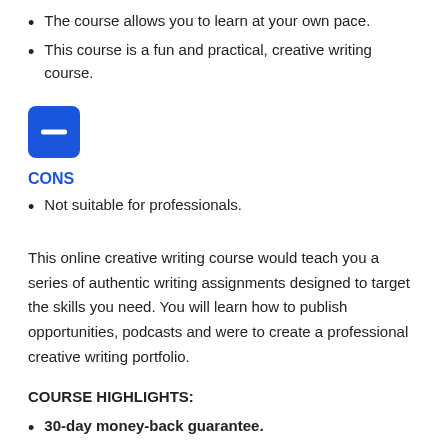The course allows you to learn at your own pace.
This course is a fun and practical, creative writing course.
[Figure (illustration): Blue square icon with a white minus/dash symbol, representing CONS section]
CONS
Not suitable for professionals.
This online creative writing course would teach you a series of authentic writing assignments designed to target the skills you need. You will learn how to publish opportunities, podcasts and were to create a professional creative writing portfolio.
COURSE HIGHLIGHTS:
30-day money-back guarantee.
6-star course rating.